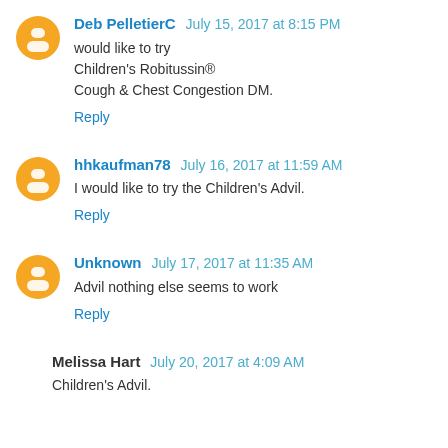Deb PelletierC July 15, 2017 at 8:15 PM
would like to try
Children's Robitussin® Cough & Chest Congestion DM.
Reply
hhkaufman78 July 16, 2017 at 11:59 AM
I would like to try the Children's Advil.
Reply
Unknown July 17, 2017 at 11:35 AM
Advil nothing else seems to work
Reply
Melissa Hart July 20, 2017 at 4:09 AM
Children's Advil.